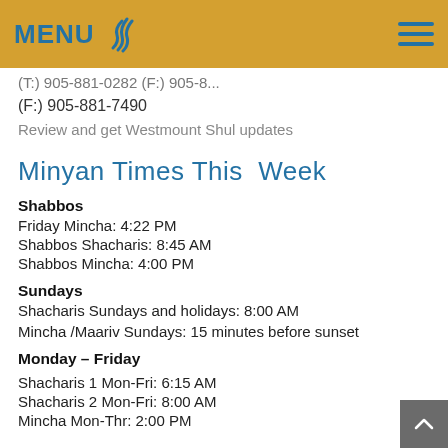MENU
(F:) 905-881-7490
Review and get Westmount Shul updates
Minyan Times This Week
Shabbos
Friday Mincha: 4:22 PM
Shabbos Shacharis: 8:45 AM
Shabbos Mincha: 4:00 PM
Sundays
Shacharis Sundays and holidays: 8:00 AM
Mincha /Maariv Sundays: 15 minutes before sunset
Monday – Friday
Shacharis 1 Mon-Fri: 6:15 AM
Shacharis 2 Mon-Fri: 8:00 AM
Mincha Mon-Thr: 2:00 PM